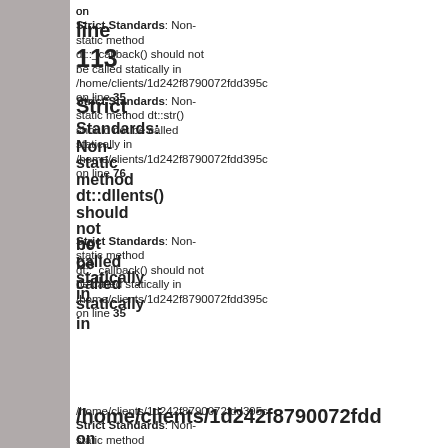on line 113
Strict Standards: Non-static method dt::_callback() should not be called statically in /home/clients/1d242f8790072fdd395c on line 35
Strict Standards: Non-static method dt::str() should not be called statically in /home/clients/1d242f8790072fdd395c on line 76
Strict Standards: Non-static method dt::_callback() should not be called statically in /home/clients/1d242f8790072fdd395c on line 35
/home/clients/1d242f8790072fdd395c
Strict Standards: Non-static method dt::_callback() should not be called statically in /home/clients/1d242f8790072fdd395c on line 35
Strict Standards: Non-static method dt::str() should not be called statically in /home/clients/1d242f8790072fdd395c on line Non-
Strict Standards: Non-static method dt::str() should not be called statically